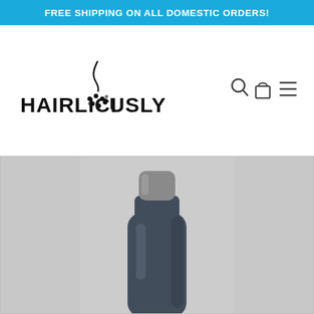FREE SHIPPING ON ALL DOMESTIC ORDERS!
[Figure (logo): Hairliciously brand logo with stylized hair follicle dot pattern in the letter O, and navigation icons (search, cart, menu)]
[Figure (photo): Close-up photo of a dark grey/navy hair product bottle (shampoo or conditioner) with a grey cap, on a light grey background]